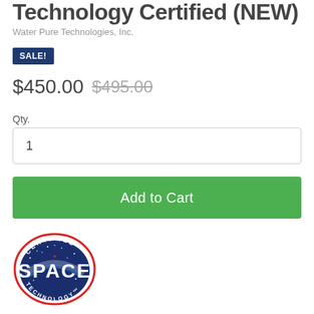Technology Certified (NEW)
Water Pure Technologies, Inc.
SALE!
$450.00  $495.00
Qty.
1
Add to Cart
[Figure (logo): Certified Space Technology oval badge logo with blue background and red border]